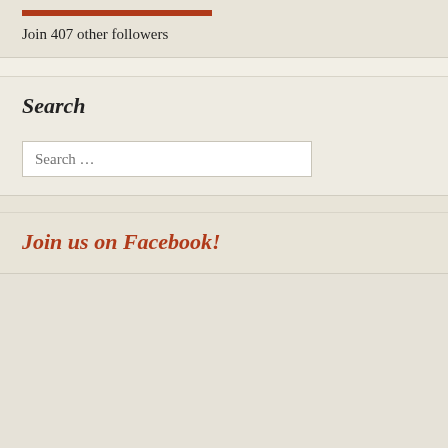Join 407 other followers
Search
Join us on Facebook!
Privacy & Cookies: This site uses cookies. By continuing to use this website, you agree to their use.
To find out more, including how to control cookies, see here: Cookie Policy
Close and accept